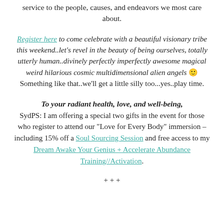service to the people, causes, and endeavors we most care about.
Register here to come celebrate with a beautiful visionary tribe this weekend..let's revel in the beauty of being ourselves, totally utterly human..divinely perfectly imperfectly awesome magical weird hilarious cosmic multidimensional alien angels 🙂Something like that..we'll get a little silly too...yes..play time.
To your radiant health, love, and well-being, SydPS: I am offering a special two gifts in the event for those who register to attend our "Love for Every Body" immersion – including 15% off a Soul Sourcing Session and free access to my Dream Awake Your Genius + Accelerate Abundance Training//Activation.
+ + +